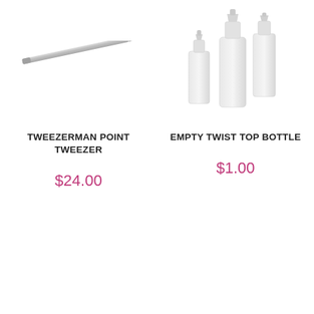[Figure (photo): Silver pointed tweezers (Tweezerman point tweezer) on white background]
[Figure (photo): Three white empty twist top plastic bottles on white background]
TWEEZERMAN POINT TWEEZER
EMPTY TWIST TOP BOTTLE
$24.00
$1.00